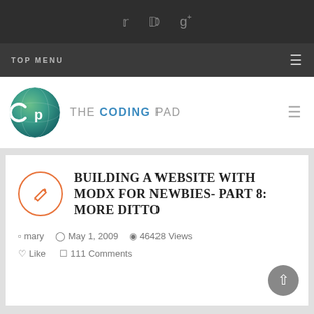Social icons: Twitter, Facebook, Google+
TOP MENU
[Figure (logo): The Coding Pad logo - circular green/teal globe with CP letters]
BUILDING A WEBSITE WITH MODX FOR NEWBIES- PART 8: MORE DITTO
mary  May 1, 2009  46428 Views  Like  111 Comments